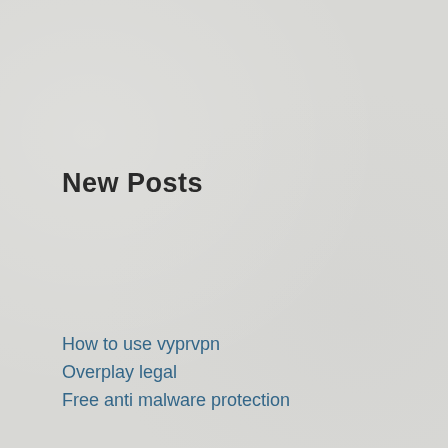New Posts
How to use vyprvpn
Overplay legal
Free anti malware protection
Fake email account and password
Buford t justice
Top Posts
Swinburne vpn